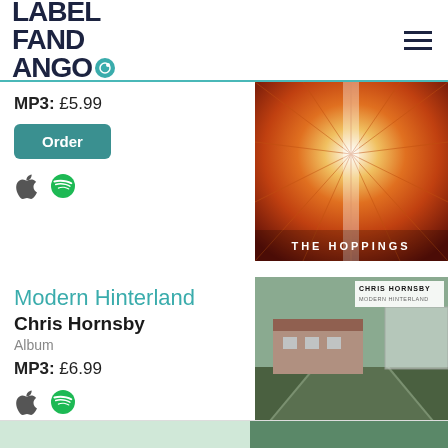Label Fandango
MP3: £5.99
Order
[Figure (photo): The Hoppings album art – orange/red geometric radial pattern with text THE HOPPINGS at bottom]
Modern Hinterland
Chris Hornsby
Album
MP3: £6.99
[Figure (photo): Modern Hinterland album art – photograph of an old rural railway station platform with a small brick building, misty/overcast day. Top right shows Chris Hornsby / Modern Hinterland label text.]
[Figure (photo): Partial album art visible at bottom of page – green/teal tones]